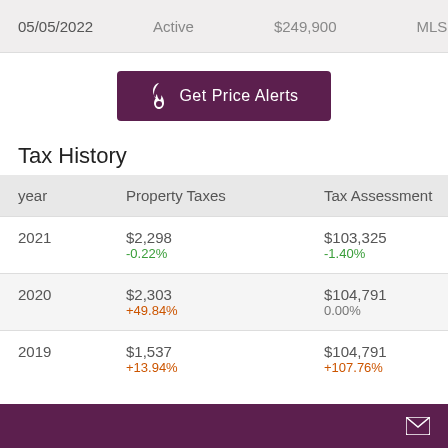05/05/2022   Active   $249,900   MLS
[Figure (other): Get Price Alerts button with flame icon on dark purple background]
Tax History
| year | Property Taxes | Tax Assessment |
| --- | --- | --- |
| 2021 | $2,298
-0.22% | $103,325
-1.40% |
| 2020 | $2,303
+49.84% | $104,791
0.00% |
| 2019 | $1,537
+13.94% | $104,791
+107.76% |